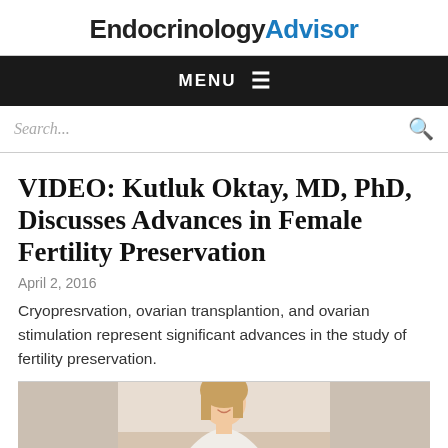EndocrinologyAdvisor
MENU
Search...
VIDEO: Kutluk Oktay, MD, PhD, Discusses Advances in Female Fertility Preservation
April 2, 2016
Cryopresrvation, ovarian transplantion, and ovarian stimulation represent significant advances in the study of fertility preservation.
[Figure (photo): Photo of a woman smiling, visible from shoulders up, wearing a white tank top, with light background]